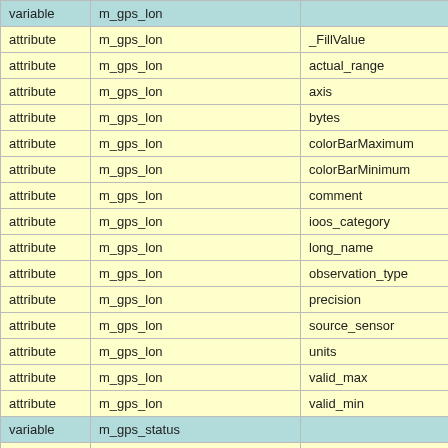| variable/attribute | name | attribute name |
| --- | --- | --- |
| variable | m_gps_lon |  |
| attribute | m_gps_lon | _FillValue |
| attribute | m_gps_lon | actual_range |
| attribute | m_gps_lon | axis |
| attribute | m_gps_lon | bytes |
| attribute | m_gps_lon | colorBarMaximum |
| attribute | m_gps_lon | colorBarMinimum |
| attribute | m_gps_lon | comment |
| attribute | m_gps_lon | ioos_category |
| attribute | m_gps_lon | long_name |
| attribute | m_gps_lon | observation_type |
| attribute | m_gps_lon | precision |
| attribute | m_gps_lon | source_sensor |
| attribute | m_gps_lon | units |
| attribute | m_gps_lon | valid_max |
| attribute | m_gps_lon | valid_min |
| variable | m_gps_status |  |
| attribute | m_gps_status | _FillValue |
| attribute | m_gps_status | actual_range |
| attribute | m_gps_status | bytes |